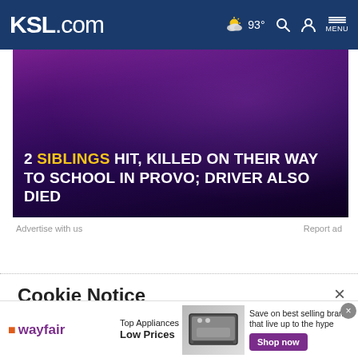KSL.com  93°  MENU
[Figure (photo): Dark purple-toned background photo showing people at what appears to be a social event. Overlaid text headline reads: 2 SIBLINGS HIT, KILLED ON THEIR WAY TO SCHOOL IN PROVO; DRIVER ALSO DIED]
Advertise with us
Report ad
Cookie Notice
We use cookies to improve your experience, analyze site traffic, and to personalize content and ads. By continuing to use our site, you consent to our use of cookies. Please visit our Terms of Use and Privacy Policy for more information
[Figure (infographic): Wayfair advertisement banner: 'Top Appliances Low Prices' with product image of a stove and text 'Save on best selling brands that live up to the hype' with a purple Shop now button]